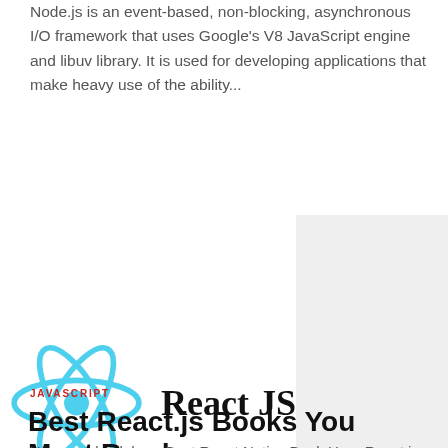Node.js is an event-based, non-blocking, asynchronous I/O framework that uses Google's V8 JavaScript engine and libuv library. It is used for developing applications that make heavy use of the ability...
[Figure (logo): React JS logo — the React atom symbol in cyan/teal color beside bold black text reading 'React JS', on a white background with a gray rectangle partially visible on the right.]
JAVASCRIPT
Best React.js Books You Must Read
You can check here Best React Native Book Here React is a